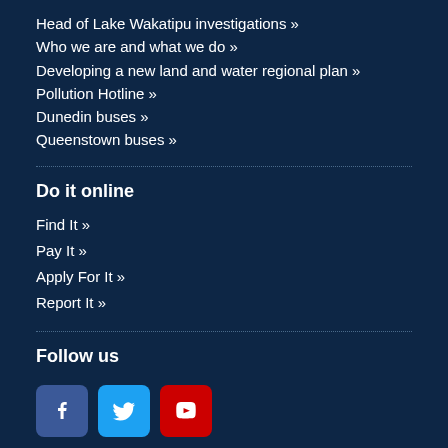Head of Lake Wakatipu investigations »
Who we are and what we do »
Developing a new land and water regional plan »
Pollution Hotline »
Dunedin buses »
Queenstown buses »
Do it online
Find It »
Pay It »
Apply For It »
Report It »
Follow us
[Figure (infographic): Social media icons: Facebook, Twitter, YouTube]